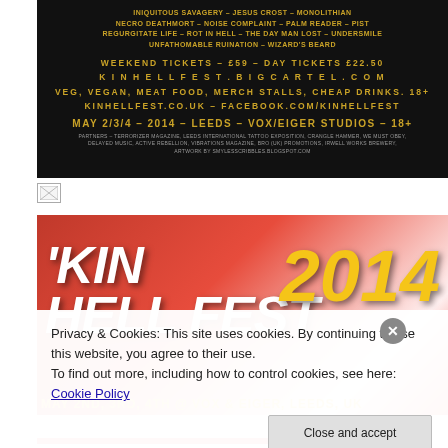[Figure (photo): Kin Hell Fest 2014 promotional poster - black background with gold text listing band names, ticket prices, website, and event details. May 2/3/4 2014, Leeds, Vox/Eiger Studios, 18+.]
[Figure (photo): Broken image icon placeholder]
[Figure (photo): Kin Hell Fest 2014 banner with red background, white grunge-style title text and yellow 2014 number. Bottom text: May 2nd, 3rd, 4th @ Vox & Eiger, Leeds, UK]
Privacy & Cookies: This site uses cookies. By continuing to use this website, you agree to their use.
To find out more, including how to control cookies, see here: Cookie Policy
Close and accept